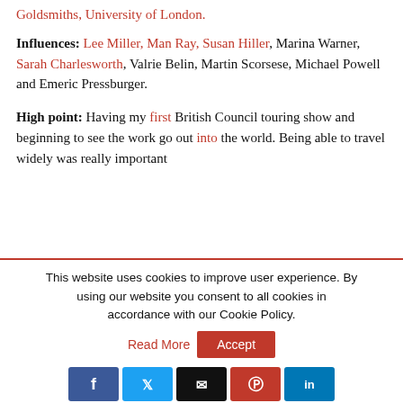Goldsmiths, University of London.
Influences: Lee Miller, Man Ray, Susan Hiller, Marina Warner, Sarah Charlesworth, Valrie Belin, Martin Scorsese, Michael Powell and Emeric Pressburger.
High point: Having my first British Council touring show and beginning to see the work go out into the world. Being able to travel widely was really important
This website uses cookies to improve user experience. By using our website you consent to all cookies in accordance with our Cookie Policy.
Read More
Accept